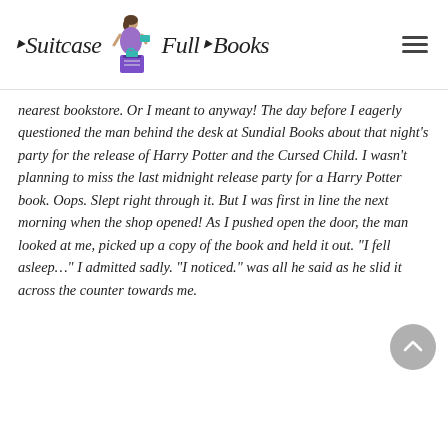Suitcase Full of Books
nearest bookstore. Or I meant to anyway! The day before I eagerly questioned the man behind the desk at Sundial Books about that night's party for the release of Harry Potter and the Cursed Child. I wasn't planning to miss the last midnight release party for a Harry Potter book. Oops. Slept right through it. But I was first in line the next morning when the shop opened! As I pushed open the door, the man looked at me, picked up a copy of the book and held it out. "I fell asleep..." I admitted sadly. "I noticed." was all he said as he slid it across the counter towards me.